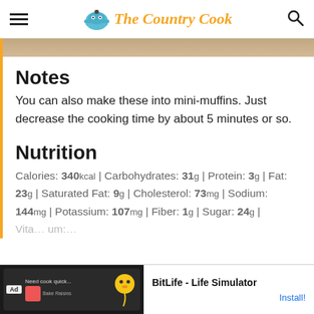The Country Cook
[Figure (photo): Partial photo strip at top of content area]
Notes
You can also make these into mini-muffins. Just decrease the cooking time by about 5 minutes or so.
Nutrition
Calories: 340kcal | Carbohydrates: 31g | Protein: 3g | Fat: 23g | Saturated Fat: 9g | Cholesterol: 73mg | Sodium: 144mg | Potassium: 107mg | Fiber: 1g | Sugar: 24g | Vita... um: 38m...
[Figure (screenshot): Ad banner at bottom: BitLife - Life Simulator, Install! button]